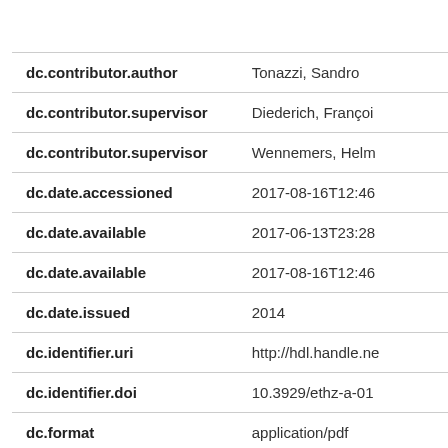| Field | Value |
| --- | --- |
| dc.contributor.author | Tonazzi, Sandro |
| dc.contributor.supervisor | Diederich, Françoi |
| dc.contributor.supervisor | Wennemers, Helm |
| dc.date.accessioned | 2017-08-16T12:46 |
| dc.date.available | 2017-06-13T23:28 |
| dc.date.available | 2017-08-16T12:46 |
| dc.date.issued | 2014 |
| dc.identifier.uri | http://hdl.handle.ne |
| dc.identifier.doi | 10.3929/ethz-a-01 |
| dc.format | application/pdf |
| dc.language.iso | en |